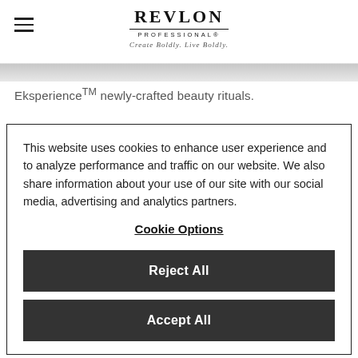[Figure (logo): Revlon Professional logo with tagline 'Create Boldly. Live Boldly.' and hamburger menu icon on the left]
Eksperience™ newly-crafted beauty rituals.
This website uses cookies to enhance user experience and to analyze performance and traffic on our website. We also share information about your use of our site with our social media, advertising and analytics partners.
Cookie Options
Reject All
Accept All